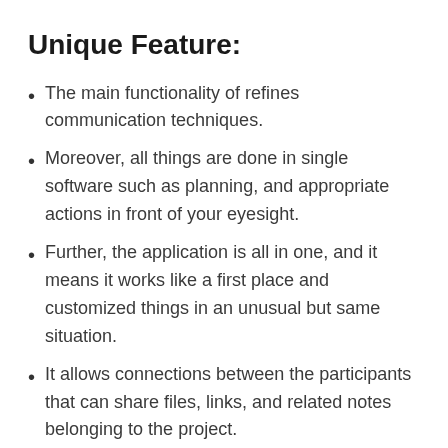Unique Feature:
The main functionality of refines communication techniques.
Moreover, all things are done in single software such as planning, and appropriate actions in front of your eyesight.
Further, the application is all in one, and it means it works like a first place and customized things in an unusual but same situation.
It allows connections between the participants that can share files, links, and related notes belonging to the project.
Not only this, but you can also define the priority of